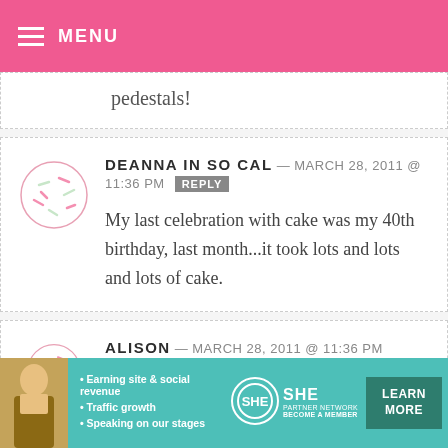MENU
pedestals!
DEANNA IN SO CAL — MARCH 28, 2011 @ 11:36 PM   REPLY
My last celebration with cake was my 40th birthday, last month...it took lots and lots and lots of cake.
ALISON — MARCH 28, 2011 @ 11:36 PM   REPLY
[Figure (infographic): SHE Partner Network advertisement banner with woman photo, bullet points about earning site & social revenue, traffic growth, speaking on our stages, SHE logo, and LEARN MORE button]